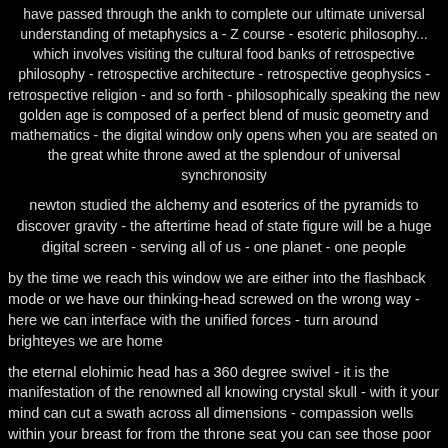have passed through the ankh to complete our ultimate universal understanding of metaphysics a - Z course - esoteric philosophy... which involves visiting the cultural food banks of retrospective philosophy - retrospective architecture - retrospective geophysics - retrospective religion - and so forth - philosophically speaking the new golden age is composed of a perfect blend of music geometry and mathematics - the digital window only opens when you are seated on the great white throne awed at the splendour of universal synchronosity
newton studied the alchemy and esoterics of the pyramids to discover gravity - the aftertime head of state figure will be a huge digital screen - serving all of us - one planet - one people
by the time we reach this window we are either into the flashback mode or we have our thinking-head screwed on the wrong way - here we can interface with the unified forces - turn around brighteyes we are home
the eternal elohimic head has a 360 degree swivel - it is the manifestation of the renowned all knowing crystal skull - with it your mind can cut a swath across all dimensions - compassion wells within your breast for from the throne seat you can see those poor haunted creatures still writhing with the birth pangs of the painful and heroic journey from egocentricity to theocentricity